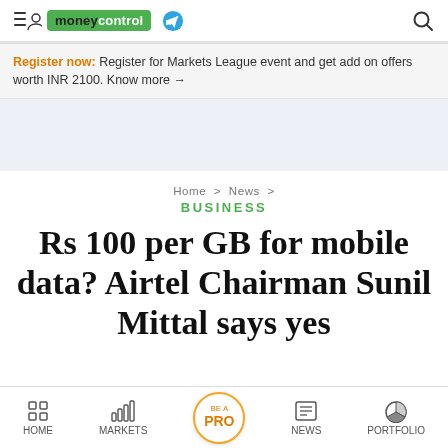moneycontrol
Register now: Register for Markets League event and get add on offers worth INR 2100. Know more →
Home > News > BUSINESS
Rs 100 per GB for mobile data? Airtel Chairman Sunil Mittal says yes
HOME  MARKETS  BE A PRO  NEWS  PORTFOLIO